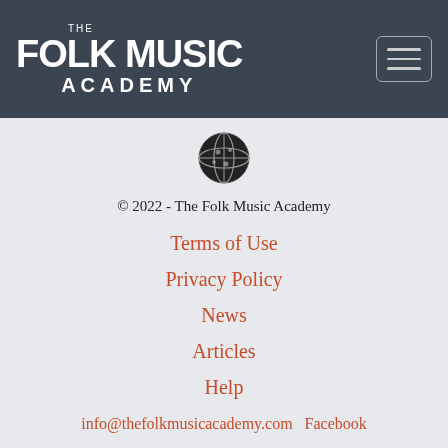THE FOLK MUSIC ACADEMY
[Figure (logo): Circular logo icon with globe/music motif]
© 2022 - The Folk Music Academy
Terms of Use
Privacy Policy
News
Articles
Help
info@thefolkmusicacademy.com   Facebook